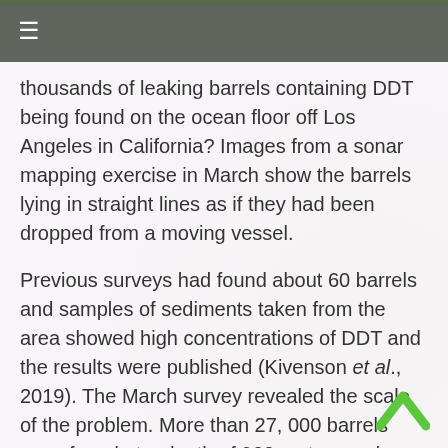≡
thousands of leaking barrels containing DDT being found on the ocean floor off Los Angeles in California? Images from a sonar mapping exercise in March show the barrels lying in straight lines as if they had been dropped from a moving vessel.
Previous surveys had found about 60 barrels and samples of sediments taken from the area showed high concentrations of DDT and the results were published (Kivenson et al., 2019). The March survey revealed the scale of the problem. More than 27, 000 barrels were found at a depth of 900 metres and, as much of the area is yet to be surveyed, there may be many thousands more. As the 2019 paper points out the 'disposal process was inherently sloppy, with the discarded waste escaping containment and entering the